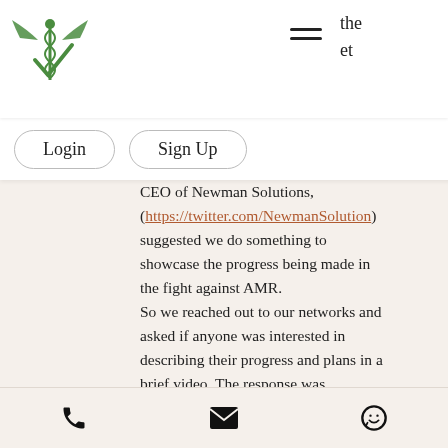[Figure (logo): Green medical logo with wings and caduceus symbol, with a checkmark/V element]
[Figure (other): Hamburger menu icon (three horizontal lines)]
the
et
Login
Sign Up
MVB,
CEO of Newman Solutions, (https://twitter.com/NewmanSolution) suggested we do something to showcase the progress being made in the fight against AMR.
So we reached out to our networks and asked if anyone was interested in describing their progress and plans in a brief video. The response was immediate and positive.
[Figure (other): Phone icon, email/envelope icon, and WhatsApp icon in footer bar]